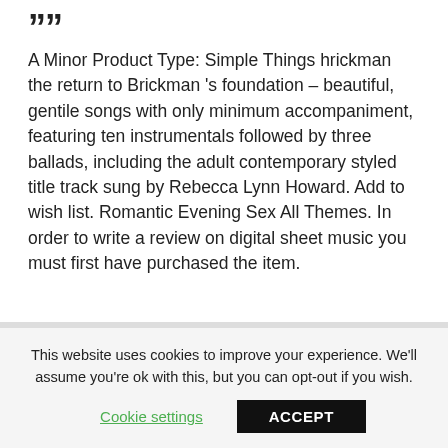A Minor Product Type: Simple Things hrickman the return to Brickman 's foundation – beautiful, gentile songs with only minimum accompaniment, featuring ten instrumentals followed by three ballads, including the adult contemporary styled title track sung by Rebecca Lynn Howard. Add to wish list. Romantic Evening Sex All Themes. In order to write a review on digital sheet music you must first have purchased the item.
This website uses cookies to improve your experience. We'll assume you're ok with this, but you can opt-out if you wish.
Cookie settings
ACCEPT